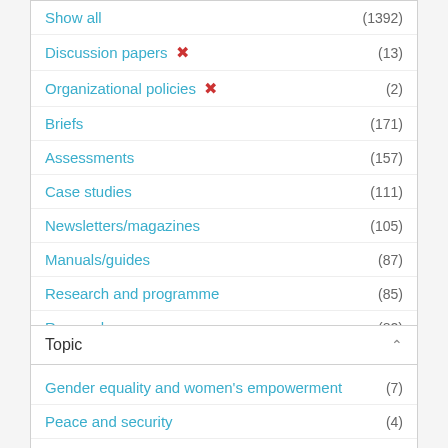Show all (1392)
Discussion papers ✕ (13)
Organizational policies ✕ (2)
Briefs (171)
Assessments (157)
Case studies (111)
Newsletters/magazines (105)
Manuals/guides (87)
Research and programme (85)
Research papers (82)
Show more
Topic
Gender equality and women's empowerment (7)
Peace and security (4)
Economic empowerment (3)
Ending violence against women and girls (3)